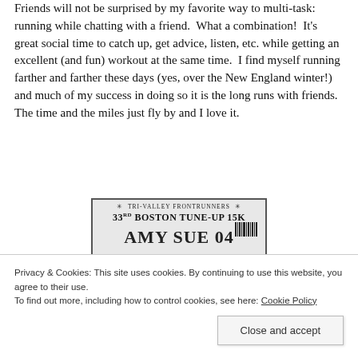Friends will not be surprised by my favorite way to multi-task: running while chatting with a friend. What a combination! It's great social time to catch up, get advice, listen, etc. while getting an excellent (and fun) workout at the same time. I find myself running farther and farther these days (yes, over the New England winter!) and much of my success in doing so it is the long runs with friends. The time and the miles just fly by and I love it.
[Figure (photo): A race bib from Tri-Valley FrontRunners for the 33rd Boston Tune-Up 15K, showing the name 'AMY SUE' and a barcode.]
Privacy & Cookies: This site uses cookies. By continuing to use this website, you agree to their use.
To find out more, including how to control cookies, see here: Cookie Policy